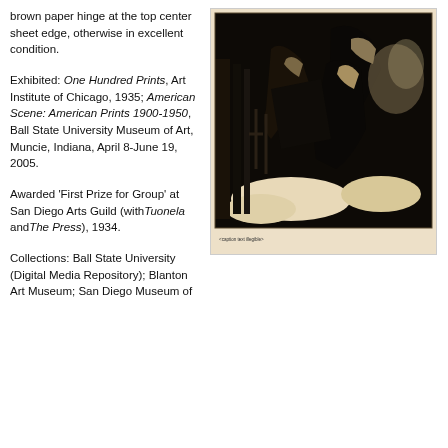brown paper hinge at the top center sheet edge, otherwise in excellent condition.
Exhibited: One Hundred Prints, Art Institute of Chicago, 1935; American Scene: American Prints 1900-1950, Ball State University Museum of Art, Muncie, Indiana, April 8-June 19, 2005.
Awarded 'First Prize for Group' at San Diego Arts Guild (with Tuonela and The Press), 1934.
Collections: Ball State University (Digital Media Repository); Blanton Art Museum; San Diego Museum of
[Figure (photo): Black and white print artwork showing figures in a dark, dramatic scene, displayed on cream/buff colored paper with caption text below the image.]